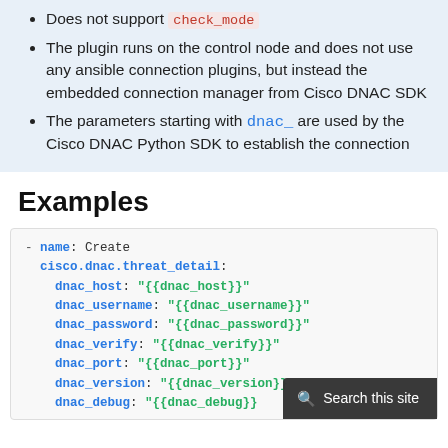Does not support check_mode
The plugin runs on the control node and does not use any ansible connection plugins, but instead the embedded connection manager from Cisco DNAC SDK
The parameters starting with dnac_ are used by the Cisco DNAC Python SDK to establish the connection
Examples
- name: Create
  cisco.dnac.threat_detail:
    dnac_host: "{{dnac_host}}"
    dnac_username: "{{dnac_username}}"
    dnac_password: "{{dnac_password}}"
    dnac_verify: "{{dnac_verify}}"
    dnac_port: "{{dnac_port}}"
    dnac_version: "{{dnac_version}}"
    dnac_debug: "{{dnac_debug}}"